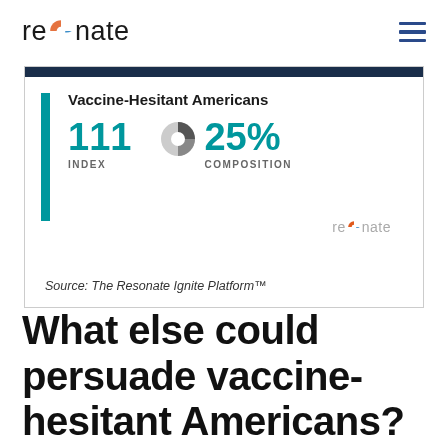resonate
[Figure (infographic): Resonate data card showing Vaccine-Hesitant Americans with Index score of 111 and Composition of 25%, with a partial pie chart icon, sourced from The Resonate Ignite Platform™]
Source: The Resonate Ignite Platform™
What else could persuade vaccine-hesitant Americans?